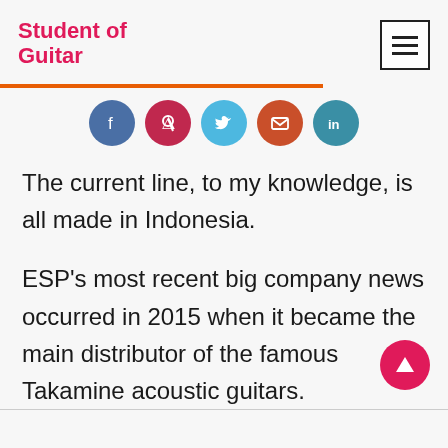Student of Guitar
[Figure (other): Social share buttons: Facebook, Pinterest, Twitter, Email, LinkedIn]
The current line, to my knowledge, is all made in Indonesia.
ESP's most recent big company news occurred in 2015 when it became the main distributor of the famous Takamine acoustic guitars.